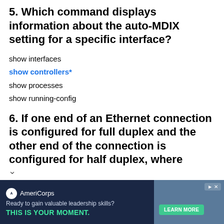5. Which command displays information about the auto-MDIX setting for a specific interface?
show interfaces
show controllers*
show processes
show running-config
6. If one end of an Ethernet connection is configured for full duplex and the other end of the connection is configured for half duplex, where
[Figure (other): AmeriCorps advertisement banner: 'Ready to gain valuable leadership skills? THIS IS YOUR MOMENT.' with LEARN MORE button and photo of people.]